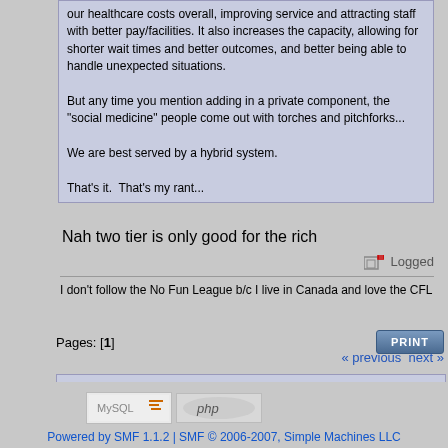our healthcare costs overall, improving service and attracting staff with better pay/facilities. It also increases the capacity, allowing for shorter wait times and better outcomes, and better being able to handle unexpected situations.

But any time you mention adding in a private component, the "social medicine" people come out with torches and pitchforks...

We are best served by a hybrid system.

That's it. That's my rant...
Nah two tier is only good for the rich
Logged
I don't follow the No Fun League b/c I live in Canada and love the CFL
Pages: [1]
« previous next »
Jump to:  => Offside Forum   go
Powered by SMF 1.1.2 | SMF © 2006-2007, Simple Machines LLC